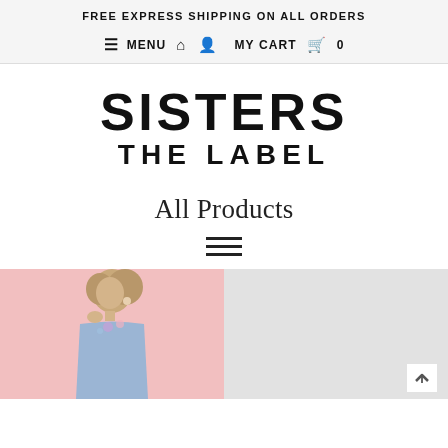FREE EXPRESS SHIPPING ON ALL ORDERS
≡ MENU  🏠  👤  MY CART  🛒  0
SISTERS THE LABEL
All Products
[Figure (other): Filter/sort icon (horizontal lines)]
[Figure (photo): Product photo: woman with updo hairstyle wearing purple/blue floral outfit against pink background]
[Figure (photo): Second product placeholder image, light grey background with scroll-to-top arrow button]